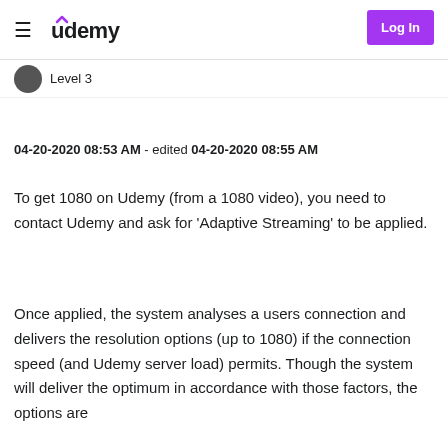Udemy — Log In
Level 3
04-20-2020 08:53 AM - edited 04-20-2020 08:55 AM
To get 1080 on Udemy (from a 1080 video), you need to contact Udemy and ask for 'Adaptive Streaming' to be applied.
Once applied, the system analyses a users connection and delivers the resolution options (up to 1080) if the connection speed (and Udemy server load) permits. Though the system will deliver the optimum in accordance with those factors, the options are